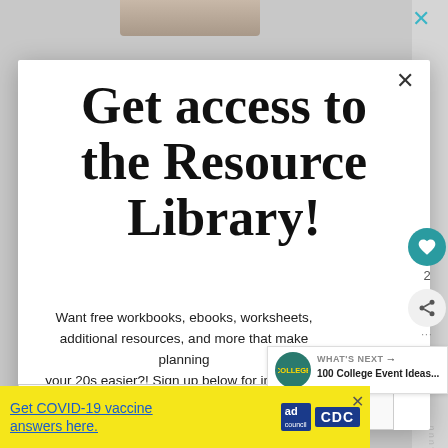[Figure (screenshot): Partial photo visible at top of page behind modal]
Get access to the Resource Library!
Want free workbooks, ebooks, worksheets, additional resources, and more that make planning your 20s easier?! Sign up below for immediate access:
Email address
WHAT'S NEXT → 100 College Event Ideas...
Get COVID-19 vaccine answers here.